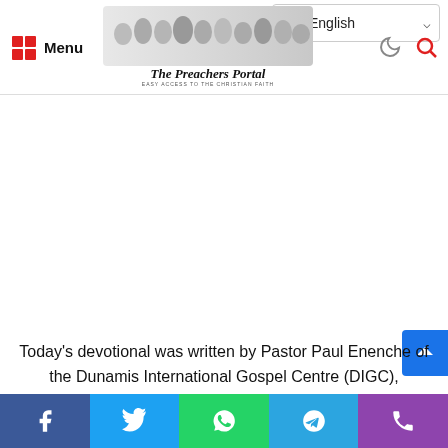Menu | The Preachers Portal | English
[Figure (logo): The Preachers Portal logo with group photo of preachers]
[Figure (other): Advertisement/blank area]
Today's devotional was written by Pastor Paul Enenche of the Dunamis International Gospel Centre (DIGC), headquartered at Abuja, Nigeria, with Pastor Paul and Becky Enenche, as the
[Figure (other): Social share bar: Facebook, Twitter, WhatsApp, Telegram, Phone]